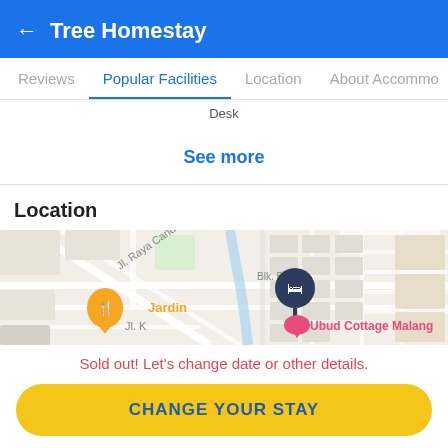← Tree Homestay
Reviews  Popular Facilities  Location  About Accommo
Desk
See more
Location
[Figure (map): Street map showing location of property near Jl. Raya Candi V A, with a hotel pin marker, an orange restaurant pin labeled Jardin, and a pink destination marker labeled Ubud Cottage Malang]
Sold out! Let's change date or other details.
CHANGE YOUR STAY